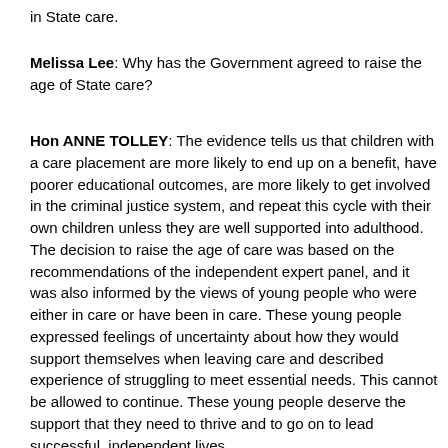in State care.
Melissa Lee: Why has the Government agreed to raise the age of State care?
Hon ANNE TOLLEY: The evidence tells us that children with a care placement are more likely to end up on a benefit, have poorer educational outcomes, are more likely to get involved in the criminal justice system, and repeat this cycle with their own children unless they are well supported into adulthood. The decision to raise the age of care was based on the recommendations of the independent expert panel, and it was also informed by the views of young people who were either in care or have been in care. These young people expressed feelings of uncertainty about how they would support themselves when leaving care and described experience of struggling to meet essential needs. This cannot be allowed to continue. These young people deserve the support that they need to thrive and to go on to lead successful, independent lives.